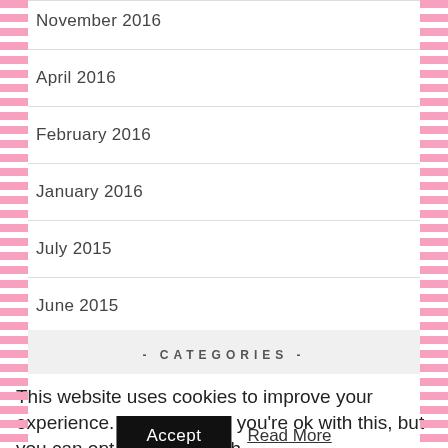November 2016
April 2016
February 2016
January 2016
July 2015
June 2015
- CATEGORIES -
This website uses cookies to improve your experience. We'll assume you're ok with this, but you can opt-out if you wish.
Accept   Read More